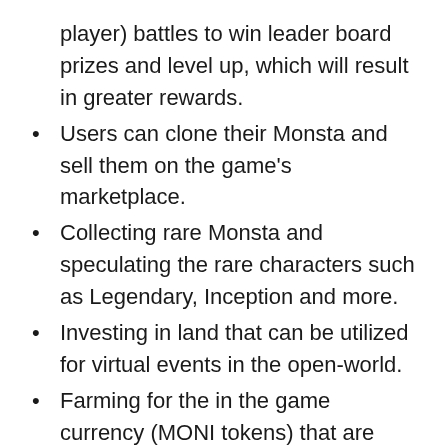player) battles to win leader board prizes and level up, which will result in greater rewards.
Users can clone their Monsta and sell them on the game's marketplace.
Collecting rare Monsta and speculating the rare characters such as Legendary, Inception and more.
Investing in land that can be utilized for virtual events in the open-world.
Farming for the in the game currency (MONI tokens) that are required for cloning Monsta. These can be sold on the supported exchanges.
Users that play excellently will be rewarded with $STT or $MONI tokens, which sets a